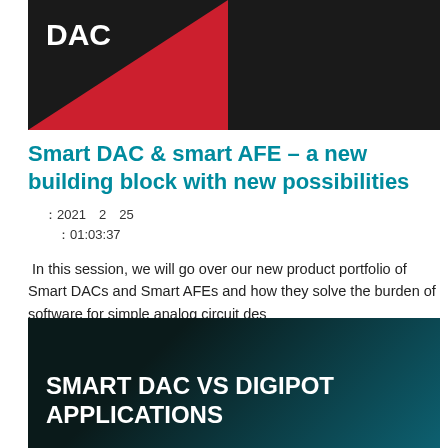[Figure (illustration): Dark banner with red diagonal shape and white bold text 'DAC']
Smart DAC & smart AFE – a new building block with new possibilities
: 2021 2 25
: 01:03:37
In this session, we will go over our new product portfolio of Smart DACs and Smart AFEs and how they solve the burden of software for simple analog circuit des
[Figure (illustration): Dark teal banner with white bold text 'SMART DAC VS DIGIPOT APPLICATIONS']